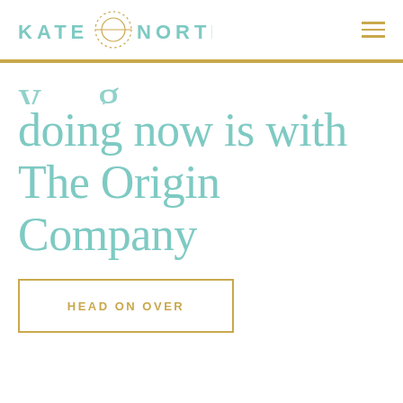KATE NORTHRUP
doing now is with The Origin Company
HEAD ON OVER